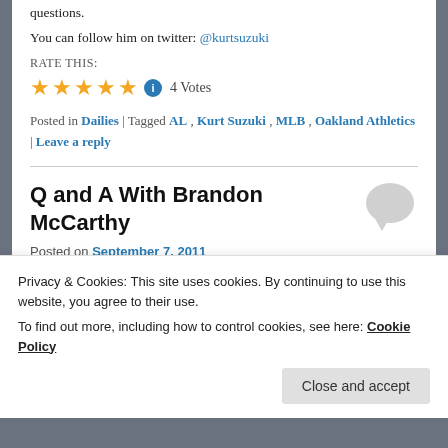questions.
You can follow him on twitter: @kurtsuzuki
RATE THIS:
★★★★★ ℹ 4 Votes
Posted in Dailies | Tagged AL , Kurt Suzuki , MLB , Oakland Athletics | Leave a reply
Q and A With Brandon McCarthy
Posted on September 7, 2011
Privacy & Cookies: This site uses cookies. By continuing to use this website, you agree to their use.
To find out more, including how to control cookies, see here: Cookie Policy
Close and accept